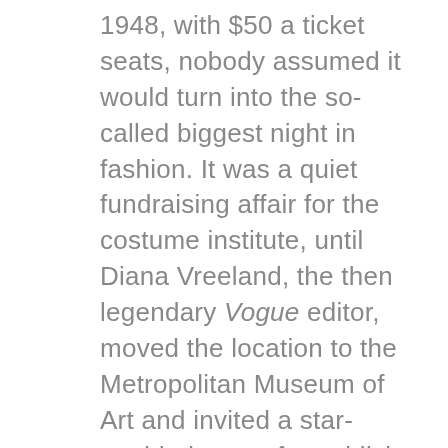1948, with $50 a ticket seats, nobody assumed it would turn into the so-called biggest night in fashion. It was a quiet fundraising affair for the costume institute, until Diana Vreeland, the then legendary Vogue editor, moved the location to the Metropolitan Museum of Art and invited a star-studded group for publicity. From 1971 onwards, ticket prices have soared to a current $30,000 a seat, and to attend, and guests must be vetted by the discerning eye of Anna Wintour. Tens of thousands dollars feels like very little to a millionaire, or the Kardashian billionaires who yearly walk the velvet red path in unbroken Giuseppe Zannotti. However, has